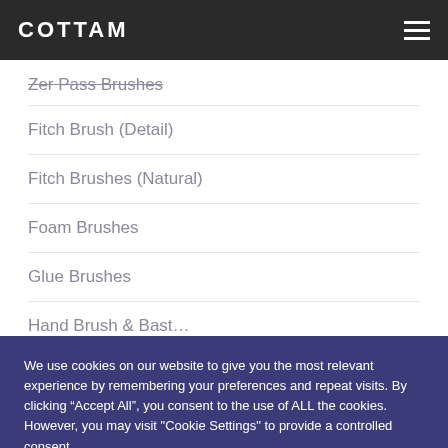COTTAM
Zer Pass Brushes
Fitch Brush (Detail)
Fitch Brushes (Natural)
Foam Brushes
Glue Brushes
Hand Brush & Bast…
We use cookies on our website to give you the most relevant experience by remembering your preferences and repeat visits. By clicking "Accept All", you consent to the use of ALL the cookies. However, you may visit "Cookie Settings" to provide a controlled consent.
Cookie Settings | Accept All